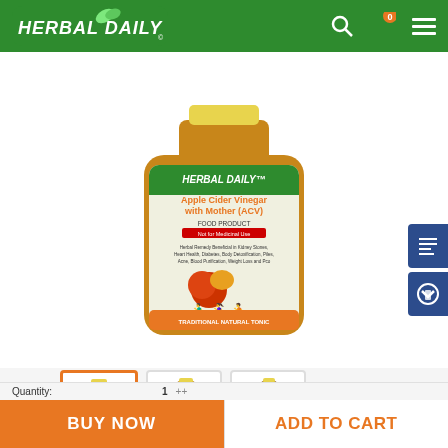HERBAL DAILY
[Figure (photo): Herbal Daily Apple Cider Vinegar with Mother product bottle, large center view]
[Figure (photo): Thumbnail 1 - front view of Apple Cider Vinegar bottle (selected)]
[Figure (photo): Thumbnail 2 - side/back view of Apple Cider Vinegar bottle]
[Figure (photo): Thumbnail 3 - darker bottle view of Apple Cider Vinegar]
BUY NOW
ADD TO CART
Quantity: